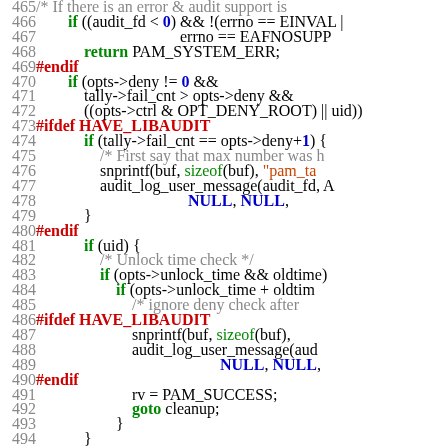[Figure (screenshot): Source code listing in C showing lines 465-494 of a PAM authentication module, with syntax highlighting: preprocessor directives in red, keywords in green, numeric literals in blue, comments in grey, string literals in orange, and function names in black monospace font.]